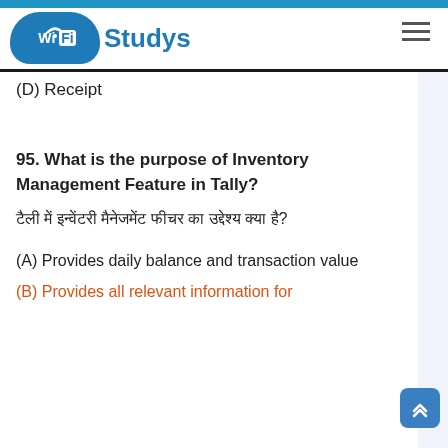Wi Fi Studys
(D) Receipt
95. What is the purpose of Inventory Management Feature in Tally?
टैली में इन्वेंटरी मैनेजमेंट फीचर का उद्देश्य क्या है?
(A) Provides daily balance and transaction value
(B) Provides all relevant information for